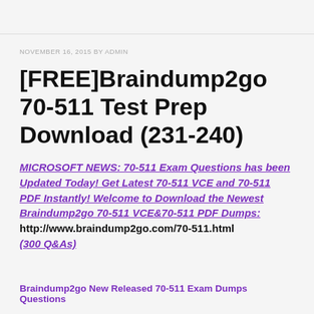NOVEMBER 16, 2015 BY ADMIN
[FREE]Braindump2go 70-511 Test Prep Download (231-240)
MICROSOFT NEWS: 70-511 Exam Questions has been Updated Today! Get Latest 70-511 VCE and 70-511 PDF Instantly! Welcome to Download the Newest Braindump2go 70-511 VCE&70-511 PDF Dumps: http://www.braindump2go.com/70-511.html (300 Q&As)
Braindump2go New Released 70-511 Exam Dumps Questions